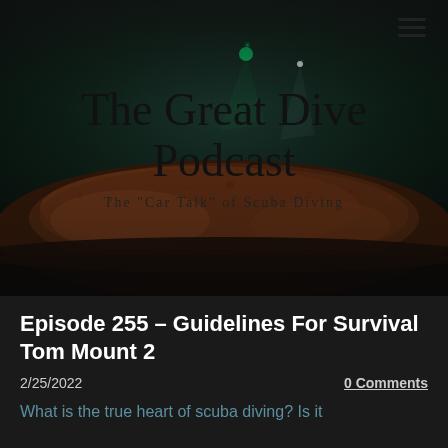[Figure (photo): Underwater scuba diving scene at night showing a shipwreck with a diver visible in the background with green and white lights illuminating the dark water. The wreck is covered in marine growth and rust.]
The Great Dive Podcast
The "Car Talk" of Scuba Diving
Episode 255 – Guidelines For Survival Tom Mount 2
2/25/2022
0 Comments
What is the true heart of scuba diving? Is it